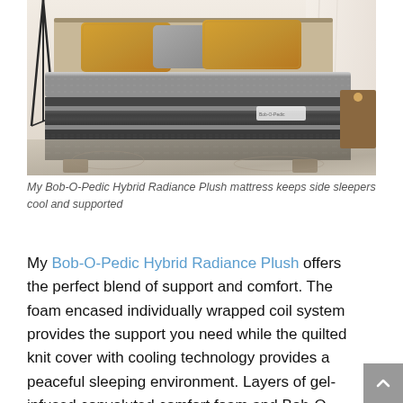[Figure (photo): A Bob-O-Pedic Hybrid Radiance Plush mattress displayed in a bedroom setting with golden and grey pillows, a tripod lamp, and a patterned area rug. The mattress has a quilted grey and black layered design.]
My Bob-O-Pedic Hybrid Radiance Plush mattress keeps side sleepers cool and supported
My Bob-O-Pedic Hybrid Radiance Plush offers the perfect blend of support and comfort. The foam encased individually wrapped coil system provides the support you need while the quilted knit cover with cooling technology provides a peaceful sleeping environment.  Layers of gel-infused convoluted comfort foam and Bob-O-Pedic Memory Foam work